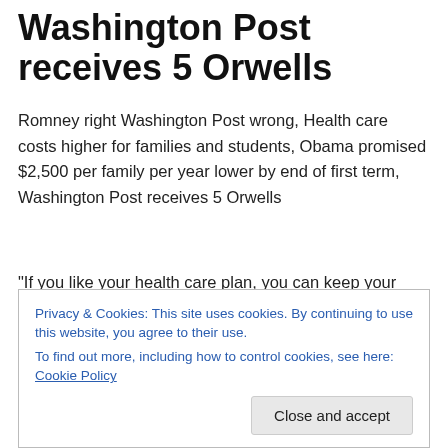Washington Post receives 5 Orwells
Romney right Washington Post wrong, Health care costs higher for families and students, Obama promised $2,500 per family per year lower by end of first term,  Washington Post receives 5 Orwells
“If you like your health care plan, you can keep your health care plan.”…Barack Obama
“If you’ve got health insurance we’re going to work with
Privacy & Cookies: This site uses cookies. By continuing to use this website, you agree to their use.
To find out more, including how to control cookies, see here: Cookie Policy